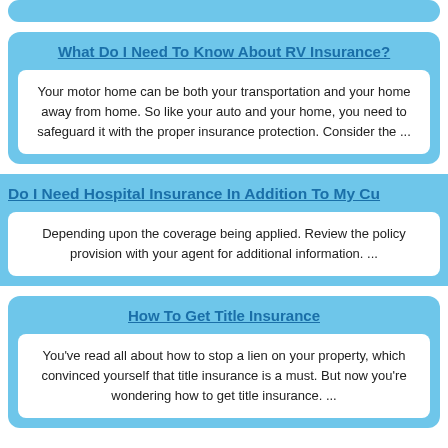What Do I Need To Know About RV Insurance?
Your motor home can be both your transportation and your home away from home. So like your auto and your home, you need to safeguard it with the proper insurance protection. Consider the ...
Do I Need Hospital Insurance In Addition To My Cu
Depending upon the coverage being applied. Review the policy provision with your agent for additional information. ...
How To Get Title Insurance
You've read all about how to stop a lien on your property, which convinced yourself that title insurance is a must. But now you're wondering how to get title insurance. ...